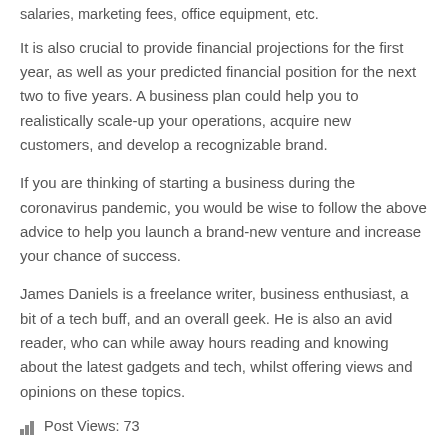salaries, marketing fees, office equipment, etc.
It is also crucial to provide financial projections for the first year, as well as your predicted financial position for the next two to five years. A business plan could help you to realistically scale-up your operations, acquire new customers, and develop a recognizable brand.
If you are thinking of starting a business during the coronavirus pandemic, you would be wise to follow the above advice to help you launch a brand-new venture and increase your chance of success.
James Daniels is a freelance writer, business enthusiast, a bit of a tech buff, and an overall geek. He is also an avid reader, who can while away hours reading and knowing about the latest gadgets and tech, whilst offering views and opinions on these topics.
Post Views: 73